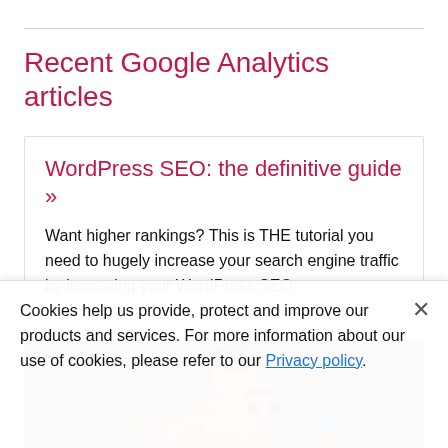Recent Google Analytics articles
WordPress SEO: the definitive guide »
Want higher rankings? This is THE tutorial you need to hugely increase your search engine traffic by improving your WordPress SEO.
[Figure (illustration): Illustration of a person working on a bicycle, with a reddish-brown background. A figure with dark red hair is bent over an orange bicycle, with a blue circular element visible near the rear wheel.]
Cookies help us provide, protect and improve our products and services. For more information about our use of cookies, please refer to our Privacy policy.